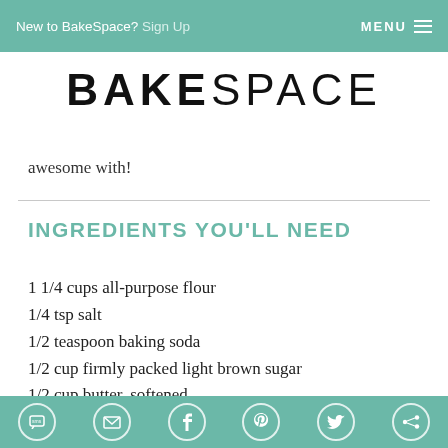New to BakeSpace? Sign Up   MENU ☰
BAKESPACE
awesome with!
INGREDIENTS YOU'LL NEED
1 1/4 cups all-purpose flour
1/4 tsp salt
1/2 teaspoon baking soda
1/2 cup firmly packed light brown sugar
1/2 cup butter, softened
1/2 cup sugar
SMS  Email  Facebook  Pinterest  Twitter  Other